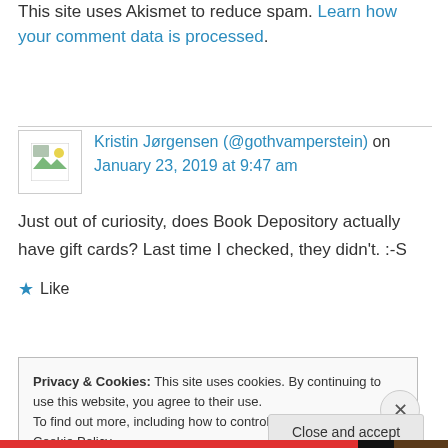This site uses Akismet to reduce spam. Learn how your comment data is processed.
Kristin Jørgensen (@gothvamperstein) on January 23, 2019 at 9:47 am
Just out of curiosity, does Book Depository actually have gift cards? Last time I checked, they didn't. :-S
★ Like
Privacy & Cookies: This site uses cookies. By continuing to use this website, you agree to their use. To find out more, including how to control cookies, see here: Cookie Policy